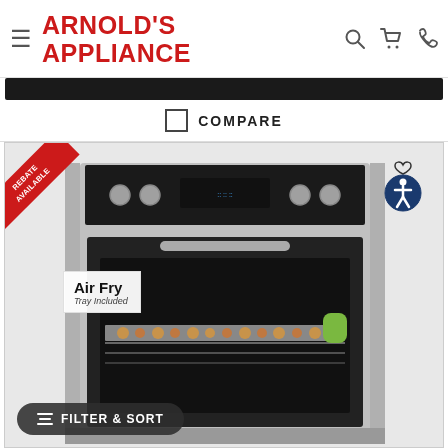[Figure (logo): Arnold's Appliance logo in red bold uppercase text]
COMPARE
[Figure (photo): Stainless steel slide-in electric range with Air Fry tray included overlay, showing cookies baking inside oven. Red 'Rebate Available' corner banner. Accessibility icon top right.]
FILTER & SORT